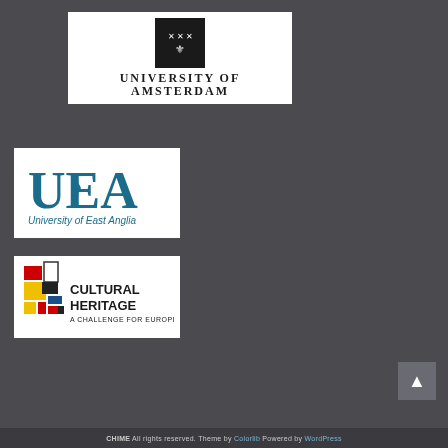[Figure (logo): University of Amsterdam logo with black emblem showing crown/X and text UNIVERSITY OF AMSTERDAM]
[Figure (logo): University of East Anglia (UEA) logo with large blue UEA letters and subtitle University of East Anglia]
[Figure (logo): Cultural Heritage A Challenge for Europe logo with colorful Mondrian-style blocks and bold text]
CHIME All rights reserved. Theme by Colorlib Powered by WordPress